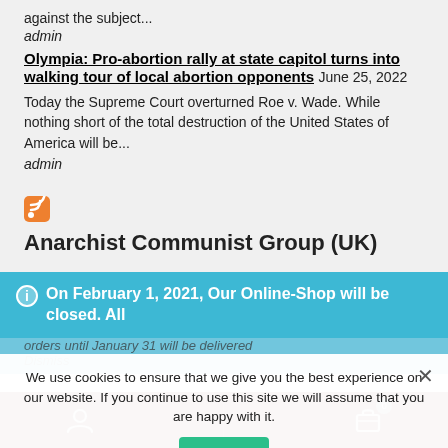against the subject...
admin
Olympia: Pro-abortion rally at state capitol turns into walking tour of local abortion opponents  June 25, 2022
Today the Supreme Court overturned Roe v. Wade. While nothing short of the total destruction of the United States of America will be...
admin
[Figure (other): RSS feed icon (orange square with white wifi-like signal lines)]
Anarchist Communist Group (UK)
On February 1, 2021, Our Online-Shop will be closed. All orders until January 31 will be delivered
Dismiss
We use cookies to ensure that we give you the best experience on our website. If you continue to use this site we will assume that you are happy with it.
Ok